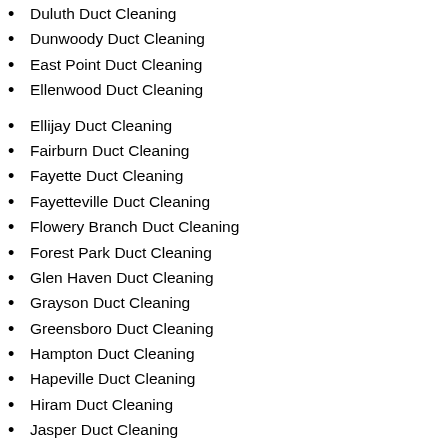Duluth Duct Cleaning
Dunwoody Duct Cleaning
East Point Duct Cleaning
Ellenwood Duct Cleaning
Ellijay Duct Cleaning
Fairburn Duct Cleaning
Fayette Duct Cleaning
Fayetteville Duct Cleaning
Flowery Branch Duct Cleaning
Forest Park Duct Cleaning
Glen Haven Duct Cleaning
Grayson Duct Cleaning
Greensboro Duct Cleaning
Hampton Duct Cleaning
Hapeville Duct Cleaning
Hiram Duct Cleaning
Jasper Duct Cleaning
Jonesboro Duct Cleaning
Kennesaw Duct Cleaning